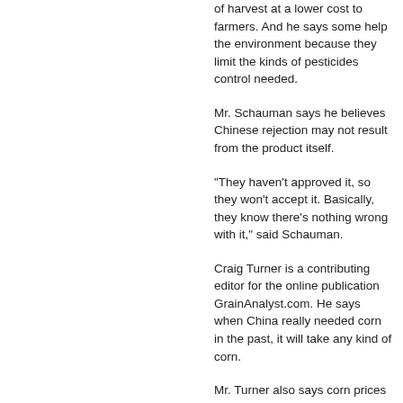of harvest at a lower cost to farmers. And he says some help the environment because they limit the kinds of pesticides control needed.
Mr. Schauman says he believes Chinese rejection may not result from the product itself.
"They haven't approved it, so they won't accept it. Basically, they know there's nothing wrong with it," said Schauman.
Craig Turner is a contributing editor for the online publication GrainAnalyst.com. He says when China really needed corn in the past, it will take any kind of corn.
Mr. Turner also says corn prices dropped when news